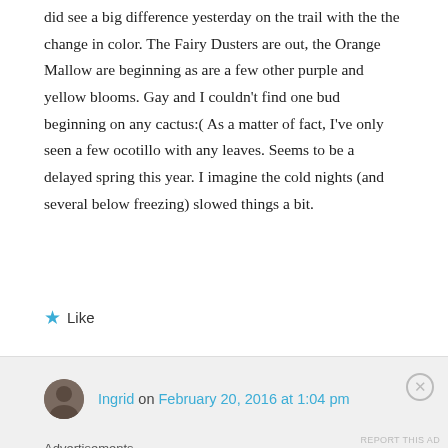did see a big difference yesterday on the trail with the the change in color. The Fairy Dusters are out, the Orange Mallow are beginning as are a few other purple and yellow blooms. Gay and I couldn't find one bud beginning on any cactus:( As a matter of fact, I've only seen a few ocotillo with any leaves. Seems to be a delayed spring this year. I imagine the cold nights (and several below freezing) slowed things a bit.
★ Like
Ingrid on February 20, 2016 at 1:04 pm
Advertisements